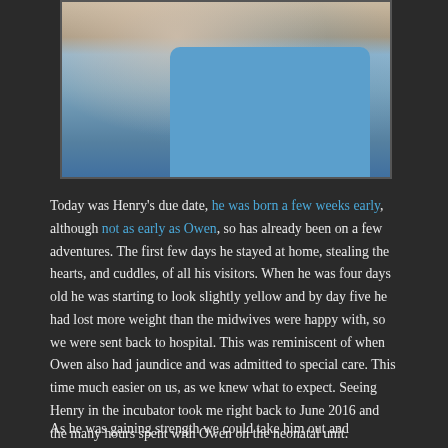[Figure (photo): Close-up photo of a man in a blue t-shirt holding a baby in a striped onesie]
Today was Henry's due date, he was born a few weeks early, although not as early as Owen, so has already been on a few adventures. The first few days he stayed at home, stealing the hearts, and cuddles, of all his visitors. When he was four days old he was starting to look slightly yellow and by day five he had lost more weight than the midwives were happy with, so we were sent back to hospital. This was reminiscent of when Owen also had jaundice and was admitted to special care. This time much easier on us, as we knew what to expect. Seeing Henry in the incubator took me right back to June 2016 and the many hours spent with Owen on the neonatal unit. Fortunately Henry responded well to the treatment and was back home within 36 hours.
As he was gaining strength we could take him out and